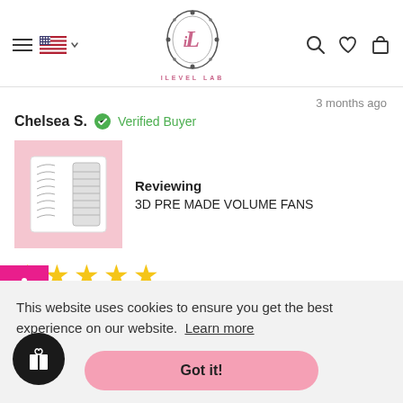iLEVEL LAB
3 months ago
Chelsea S. ✓ Verified Buyer
[Figure (photo): Product image of 3D Pre Made Volume Fans lash tray on pink background]
Reviewing
3D PRE MADE VOLUME FANS
[Figure (infographic): 5 yellow star rating]
Love
This website uses cookies to ensure you get the best experience on our website. Learn more
Got it!